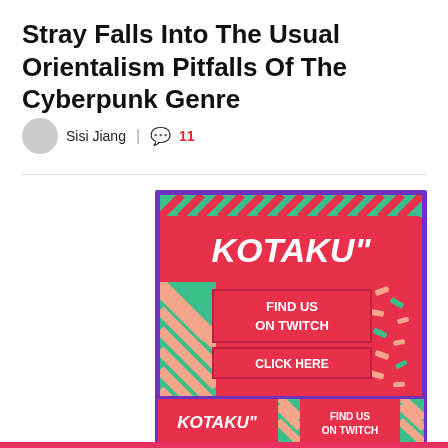Stray Falls Into The Usual Orientalism Pitfalls Of The Cyberpunk Genre
Sisi Jiang | 11
[Figure (advertisement): Kotaku branded advertisement banner with teal diagonal stripe decorations on a magenta/red background with purple border. Contains Kotaku logo, 'FIND US ON TWITCH' and 'CLICK HERE' buttons. A smaller banner version appears below with the same branding.]